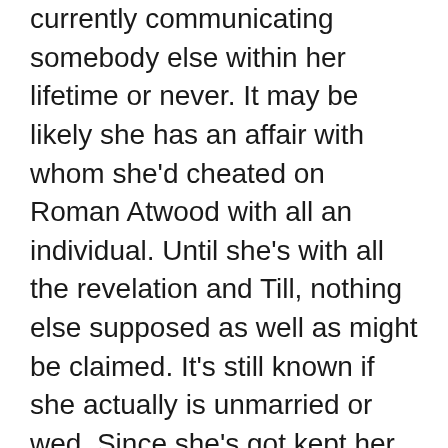currently communicating somebody else within her lifetime or never. It may be likely she has an affair with whom she'd cheated on Roman Atwood with all an individual. Until she's with all the revelation and Till, nothing else supposed as well as might be claimed. It's still known if she actually is unmarried or wed, Since she's got kept her living under wrapping. As stated by a origin, it's claimed that after the breakup, they have a struggle between eachother. According to 25 Roman Atwood experienced tweeted saying his exwife is actually really just a bitch! . He's got uploaded a movie clip called Roman Atwood Talks About. (image: Roman's Twitter) at the time of today, Shanna isn't found at a general romantic romance. An individual could explain to what occurred afterwards the union that is